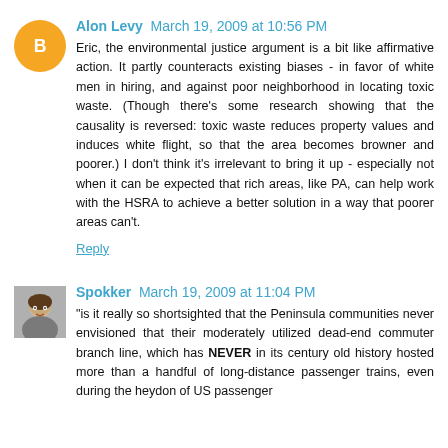Alon Levy  March 19, 2009 at 10:56 PM
Eric, the environmental justice argument is a bit like affirmative action. It partly counteracts existing biases - in favor of white men in hiring, and against poor neighborhood in locating toxic waste. (Though there's some research showing that the causality is reversed: toxic waste reduces property values and induces white flight, so that the area becomes browner and poorer.) I don't think it's irrelevant to bring it up - especially not when it can be expected that rich areas, like PA, can help work with the HSRA to achieve a better solution in a way that poorer areas can't.
Reply
Spokker  March 19, 2009 at 11:04 PM
"is it really so shortsighted that the Peninsula communities never envisioned that their moderately utilized dead-end commuter branch line, which has NEVER in its century old history hosted more than a handful of long-distance passenger trains, even during the heydon of US passenger